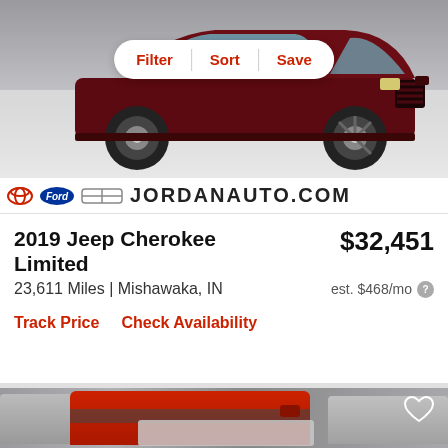[Figure (photo): Dark red Jeep Cherokee SUV parked in a dealership lot, front three-quarter view on white/gray tiled floor]
Filter  Sort  Save
[Figure (logo): Dealer logo bar showing Toyota, Ford, and another brand logo alongside text JORDANAUTO.COM]
2019 Jeep Cherokee Limited
$32,451
23,611 Miles | Mishawaka, IN
est. $468/mo
Track Price   Check Availability
[Figure (photo): Red SUV/truck parked in a lot, side view, with gray vehicles on either side]